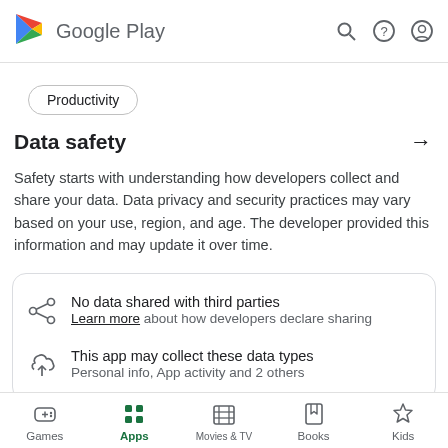Google Play
Productivity
Data safety →
Safety starts with understanding how developers collect and share your data. Data privacy and security practices may vary based on your use, region, and age. The developer provided this information and may update it over time.
No data shared with third parties
Learn more about how developers declare sharing
This app may collect these data types
Personal info, App activity and 2 others
Games  Apps  Movies & TV  Books  Kids